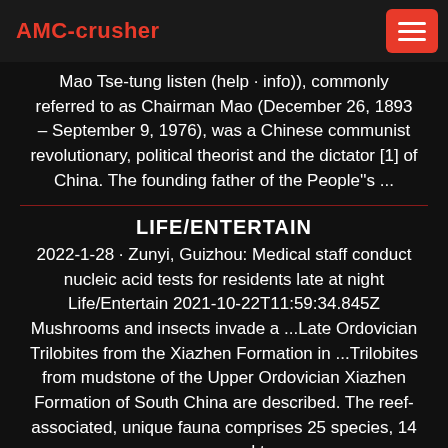AMC-crusher
Mao Tse-tung listen (help · info)), commonly referred to as Chairman Mao (December 26, 1893 – September 9, 1976), was a Chinese communist revolutionary, political theorist and the dictator [1] of China. The founding father of the People''s ...
LIFE/ENTERTAIN
2022-1-28 · Zunyi, Guizhou: Medical staff conduct nucleic acid tests for residents late at night Life/Entertain 2021-10-22T11:59:34.845Z Mushrooms and insects invade a ...Late Ordovician Trilobites from the Xiazhen Formation in ...Trilobites from mudstone of the Upper Ordovician Xiazhen Formation of South China are described. The reef-associated, unique fauna comprises 25 species, 14 genera, and ten